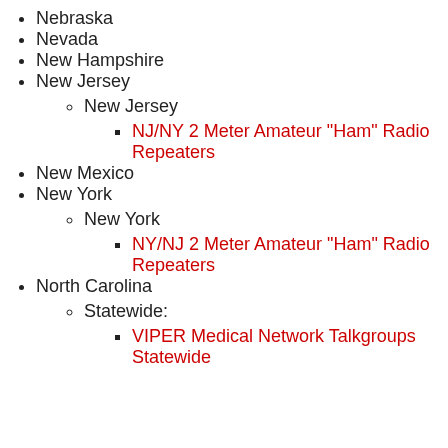Nebraska
Nevada
New Hampshire
New Jersey
New Jersey (sub)
NJ/NY 2 Meter Amateur "Ham" Radio Repeaters
New Mexico
New York
New York (sub)
NY/NJ 2 Meter Amateur "Ham" Radio Repeaters
North Carolina
Statewide:
VIPER Medical Network Talkgroups Statewide